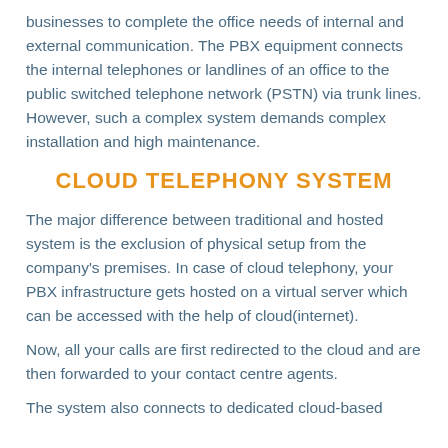businesses to complete the office needs of internal and external communication. The PBX equipment connects the internal telephones or landlines of an office to the public switched telephone network (PSTN) via trunk lines. However, such a complex system demands complex installation and high maintenance.
CLOUD TELEPHONY SYSTEM
The major difference between traditional and hosted system is the exclusion of physical setup from the company's premises. In case of cloud telephony, your PBX infrastructure gets hosted on a virtual server which can be accessed with the help of cloud(internet).
Now, all your calls are first redirected to the cloud and are then forwarded to your contact centre agents.
The system also connects to dedicated cloud-based...